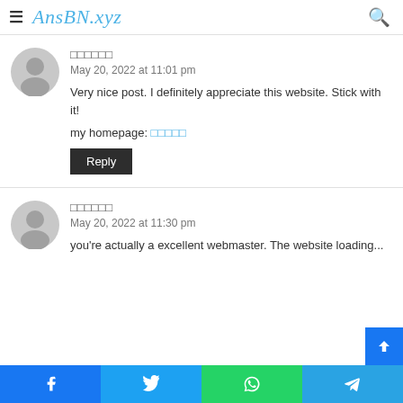AnsBN.xyz
□□□□□□ — May 20, 2022 at 11:01 pm — Very nice post. I definitely appreciate this website. Stick with it! my homepage: □□□□□
Reply
□□□□□□ — May 20, 2022 at 11:30 pm — you're actually a excellent webmaster. The website loading...